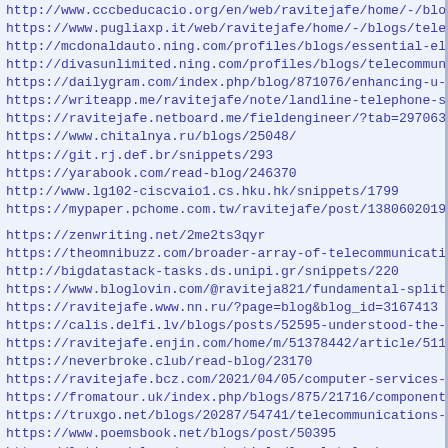http://www.cccbeducacio.org/en/web/ravitejafe/home/-/blogs/
https://www.pugliaxp.it/web/ravitejafe/home/-/blogs/telecom
http://mcdonaldauto.ning.com/profiles/blogs/essential-eleme
http://divasunlimited.ning.com/profiles/blogs/telecommunica
https://dailygram.com/index.php/blog/871076/enhancing-u-s-t
https://writeapp.me/ravitejafe/note/landline-telephone-serv
https://ravitejafe.netboard.me/fieldengineer/?tab=297063
https://www.chitalnya.ru/blogs/25048/
https://git.rj.def.br/snippets/293
https://yarabook.com/read-blog/246370
http://www.lg102-ciscvaio1.cs.hku.hk/snippets/1799
https://mypaper.pchome.com.tw/ravitejafe/post/1380602019
https://zenwriting.net/2me2ts3qyr
https://theomnibuzz.com/broader-array-of-telecommunications
http://bigdatastack-tasks.ds.unipi.gr/snippets/220
https://www.bloglovin.com/@raviteja821/fundamental-split-in
https://ravitejafe.www.nn.ru/?page=blog&blog_id=3167413
https://calis.delfi.lv/blogs/posts/52595-understood-the-ben
https://ravitejafe.enjin.com/home/m/51378442/article/511059
https://neverbroke.club/read-blog/23170
https://ravitejafe.bcz.com/2021/04/05/computer-services-com
https://fromatour.uk/index.php/blogs/875/21716/component-ma
https://truxgo.net/blogs/20287/54741/telecommunications-ind
https://www.poemsbook.net/blogs/post/50395
https://latinosdelmundo.com/article/local-telephone-service
http://sfbats.ning.com/profiles/blogs/formed-an-r-amp-d-con
http://ravitejafe.free-blog.net/prospects-for-increased-com
http://greek-smile.com/blogs/41347/16289/renewed-investment
http://vaal-online.co.za/blogs/post/54403